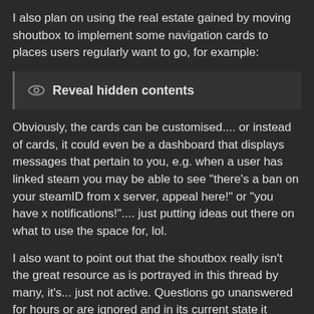I also plan on using the real estate gained by moving shoutbox to implement some navigation cards to places users regularly want to go, for example:
[Figure (other): Spoiler/collapsed content block with eye icon and bold label 'Reveal hidden contents']
Obviously, the cards can be customised.... or instead of cards, it could even be a dashboard that displays messages that pertain to you, e.g. when a user has linked steam you may be able to see "there's a ban on your steamID from x server, appeal here!" or "you have x notifications!".... just putting ideas out there on what to use the space for, lol.
I also want to point out that the shoutbox really isn't the great resource as is portrayed in this thread by many, it's... just not active. Questions go unanswered for hours or are ignored and in its current state it catches the eye of users who are looking to solve a problem, and they waste time typing in it...
Sometimes, change is hard, but it's for the better. 🙂 Let